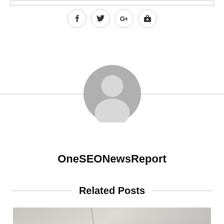[Figure (illustration): Social share icons: Facebook, Twitter, Google+, Pinterest in circular outlines]
[Figure (illustration): Generic grey user avatar silhouette in a circle, centered on page with horizontal divider lines on either side]
OneSEONewsReport
Related Posts
[Figure (photo): Partial image visible at bottom of page, grey/beige tones]